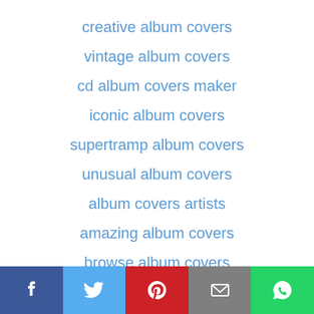creative album covers
vintage album covers
cd album covers maker
iconic album covers
supertramp album covers
unusual album covers
album covers artists
amazing album covers
browse album covers
soul album covers
Facebook | Twitter | Pinterest | Email | WhatsApp